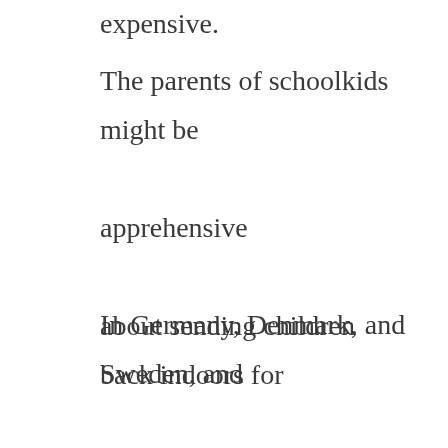expensive.
The parents of schoolkids might be apprehensive about sending children back indoors for schooling, but if schools stay closed, I'll cut funding – no fooling!
In Germany, Denmark, and Sweden, and Norway, their schools are wide open. As I've said